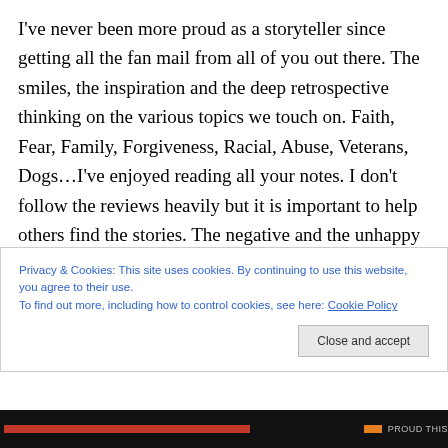I've never been more proud as a storyteller since getting all the fan mail from all of you out there. The smiles, the inspiration and the deep retrospective thinking on the various topics we touch on. Faith, Fear, Family, Forgiveness, Racial, Abuse, Veterans, Dogs…I've enjoyed reading all your notes. I don't follow the reviews heavily but it is important to help others find the stories. The negative and the unhappy still exist and spread their toxins but they are the goal. To bring some light and change their glass from half empty to half full. We make films that don't preach or sugar coat – serious topics with a dose of
Privacy & Cookies: This site uses cookies. By continuing to use this website, you agree to their use.
To find out more, including how to control cookies, see here: Cookie Policy
Close and accept